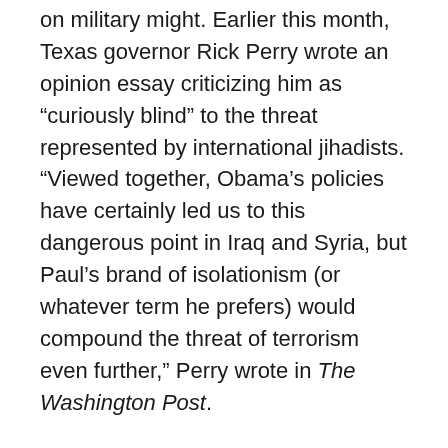on military might. Earlier this month, Texas governor Rick Perry wrote an opinion essay criticizing him as “curiously blind” to the threat represented by international jihadists. “Viewed together, Obama’s policies have certainly led us to this dangerous point in Iraq and Syria, but Paul’s brand of isolationism (or whatever term he prefers) would compound the threat of terrorism even further,” Perry wrote in The Washington Post.
As much as anything, that’s a sign that Perry is considering once again seeking the GOP nomination for president and sees Paul as a significant rival. One way to knock off Paul, Perry believes, is to play to the GOP’s armchair hawks, who haven’t tired of sending other people’s sons and daughters to war.
Paul immediately fought back with an op-ed of his own,